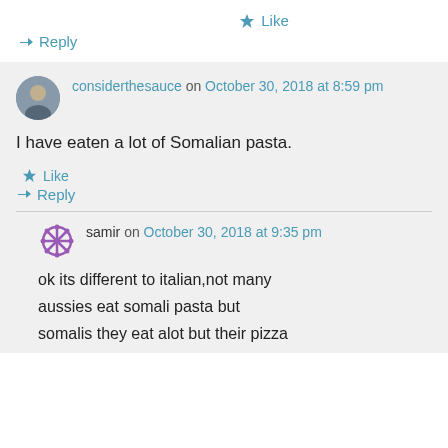★ Like
↳ Reply
considerthesauce on October 30, 2018 at 8:59 pm
I have eaten a lot of Somalian pasta.
★ Like
↳ Reply
samir on October 30, 2018 at 9:35 pm
ok its different to italian,not many aussies eat somali pasta but somalis they eat alot but their pizza